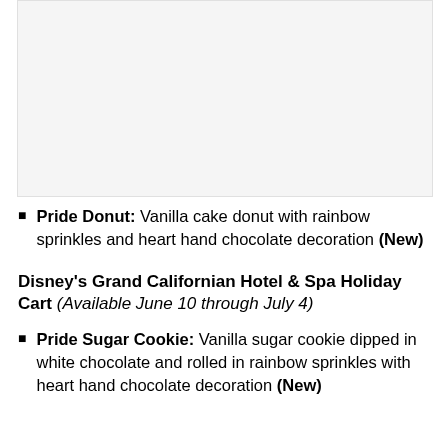[Figure (photo): Image placeholder area at top of page]
Pride Donut: Vanilla cake donut with rainbow sprinkles and heart hand chocolate decoration (New)
Disney's Grand Californian Hotel & Spa Holiday Cart (Available June 10 through July 4)
Pride Sugar Cookie: Vanilla sugar cookie dipped in white chocolate and rolled in rainbow sprinkles with heart hand chocolate decoration (New)